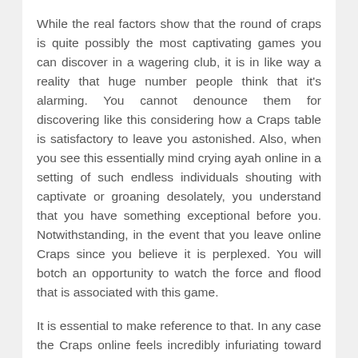While the real factors show that the round of craps is quite possibly the most captivating games you can discover in a wagering club, it is in like way a reality that huge number people think that it's alarming. You cannot denounce them for discovering like this considering how a Craps table is satisfactory to leave you astonished. Also, when you see this essentially mind crying ayah online in a setting of such endless individuals shouting with captivate or groaning desolately, you understand that you have something exceptional before you. Notwithstanding, in the event that you leave online Craps since you believe it is perplexed. You will botch an opportunity to watch the force and flood that is associated with this game.
It is essential to make reference to that. In any case the Craps online feels incredibly infuriating toward the start, it is not something you cannot adjust with any issue. Unmistakably, it requests some idea, yet once you get its hang, you will essentially channel for this specific game